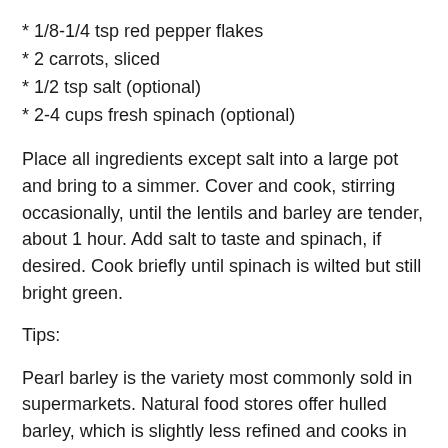* 1/8-1/4 tsp red pepper flakes
* 2 carrots, sliced
* 1/2 tsp salt (optional)
* 2-4 cups fresh spinach (optional)
Place all ingredients except salt into a large pot and bring to a simmer. Cover and cook, stirring occasionally, until the lentils and barley are tender, about 1 hour. Add salt to taste and spinach, if desired. Cook briefly until spinach is wilted but still bright green.
Tips:
Pearl barley is the variety most commonly sold in supermarkets. Natural food stores offer hulled barley, which is slightly less refined and cooks in about the same amount of time.
This soup can also be prepared in a crockpot. If you start